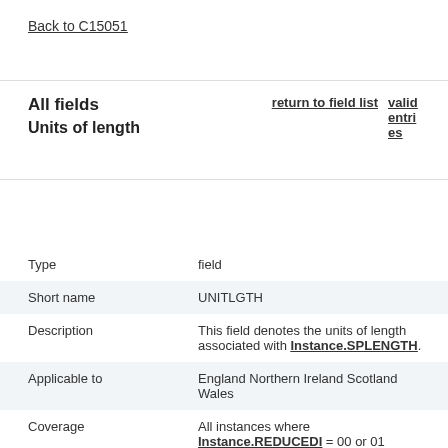Back to C15051
All fields
Units of length
return to field list
valid entries
| Type | field |
| Short name | UNITLGTH |
| Description | This field denotes the units of length associated with Instance.SPLENGTH. |
| Applicable to | England Northern Ireland Scotland Wales |
| Coverage | All instances where Instance.REDUCEDI = 00 or 01 |